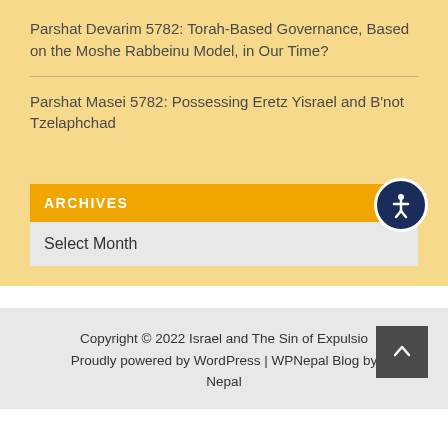Parshat Devarim 5782: Torah-Based Governance, Based on the Moshe Rabbeinu Model, in Our Time?
Parshat Masei 5782: Possessing Eretz Yisrael and B'not Tzelaphchad
ARCHIVES
Select Month
Copyright © 2022 Israel and The Sin of Expulsion Proudly powered by WordPress | WPNepal Blog by Nepal